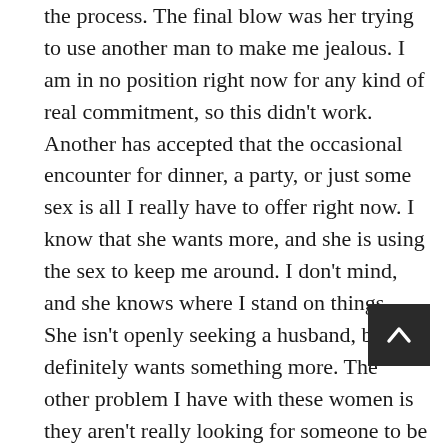the process. The final blow was her trying to use another man to make me jealous. I am in no position right now for any kind of real commitment, so this didn't work. Another has accepted that the occasional encounter for dinner, a party, or just some sex is all I really have to offer right now. I know that she wants more, and she is using the sex to keep me around. I don't mind, and she knows where I stand on things. She isn't openly seeking a husband, but definitely wants something more. The other problem I have with these women is they aren't really looking for someone to be a good husband. They want a Dad at their house when they have their kids. I am already a Dad to four kids. In the right circumstances, I might have it in me to be a father to more kids, but that isn't on the plate right now.

The next problem I have is the women that are left that aren't looking for these things are older women. I tend to be attracted to older women. Who am I kidding, I am attracted to attractive women. Age isn't really a factor. Older women tend to be more predatory from what I have